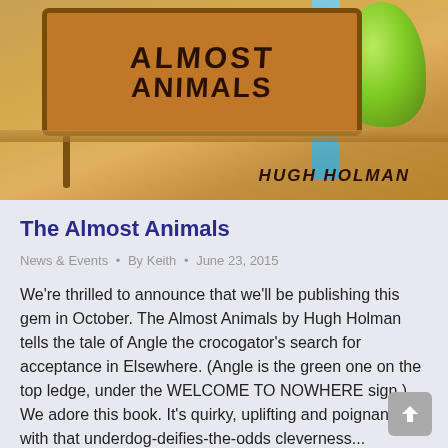[Figure (illustration): Book cover illustration for 'The Almost Animals' by Hugh Holman. Shows a wooden sign reading 'ALMOST ANIMALS' hanging against a sandy/rocky background. A green creature (Angle the crocogator) sits on a ledge on the right side. Blue waterfall stripe visible. Author name 'HUGH HOLMAN' written in informal lettering on the background.]
The Almost Animals
News & Events · By Keith · June 23, 2015
We're thrilled to announce that we'll be publishing this gem in October. The Almost Animals by Hugh Holman tells the tale of Angle the crocogator's search for acceptance in Elsewhere. (Angle is the green one on the top ledge, under the WELCOME TO NOWHERE sign.) We adore this book. It's quirky, uplifting and poignant, with that underdog-deifies-the-odds cleverness...